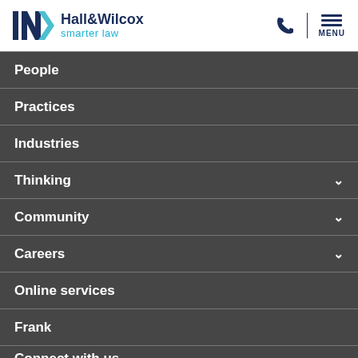[Figure (logo): Hall & Wilcox smarter law logo with geometric mark in dark blue and cyan]
People
Practices
Industries
Thinking
Community
Careers
Online services
Frank
Connect with us
[Figure (illustration): Five social media icon circles: LinkedIn, Twitter/X, Facebook, YouTube, Instagram]